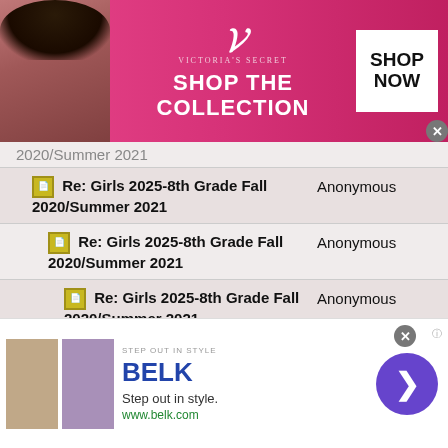[Figure (photo): Victoria's Secret advertisement banner with model, VS logo, SHOP THE COLLECTION text, and SHOP NOW button]
| Thread | Author |
| --- | --- |
| Re: Girls 2025-8th Grade Fall 2020/Summer 2021 (partial, top cut off) |  |
| Re: Girls 2025-8th Grade Fall 2020/Summer 2021 | Anonymous |
| Re: Girls 2025-8th Grade Fall 2020/Summer 2021 | Anonymous |
| Re: Girls 2025-8th Grade Fall 2020/Summer 2021 | Anonymous |
| Re: Girls 2025-8th Grade Fall 2020/Summer 2021 | Anonymous |
| Re: Girls 2025-8th Grade Fall 2020/Summer 2021 | Anonymous |
| Re: Girls 2025-8th Grade Fall 2020/Summer 2021 | Anonymous |
[Figure (photo): Belk advertisement banner: Step out in style. www.belk.com with fashion images and arrow button]